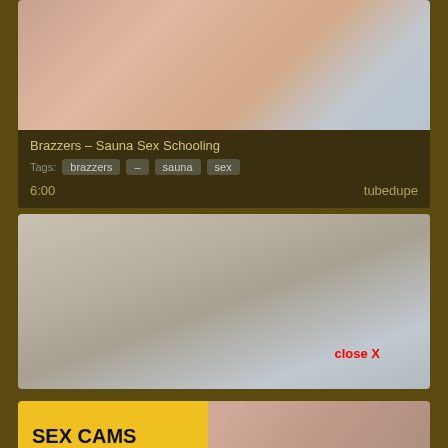[Figure (screenshot): Video thumbnail for Brazzers sauna scene]
Brazzers – Sauna Sex Schooling
Tags: brazzers – sauna sex
6:00   tubedupe
[Figure (screenshot): 3D animation video thumbnail showing two figures, with red 'close X' text overlay]
[Figure (screenshot): Advertisement banner: SEX CAMS LIVE NOW amateur.tv with partial photo]